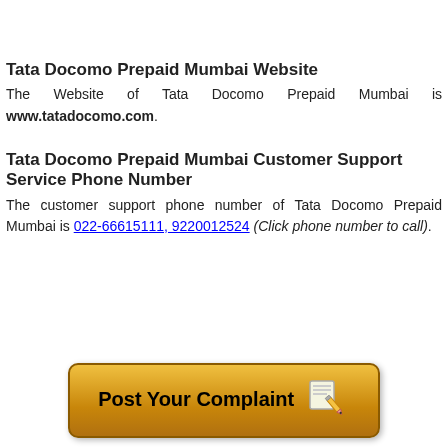Tata Docomo Prepaid Mumbai Website
The Website of Tata Docomo Prepaid Mumbai is www.tatadocomo.com.
Tata Docomo Prepaid Mumbai Customer Support Service Phone Number
The customer support phone number of Tata Docomo Prepaid Mumbai is 022-66615111, 9220012524 (Click phone number to call).
[Figure (illustration): Golden/yellow rounded button labeled 'Post Your Complaint' with a notepad and pencil icon]